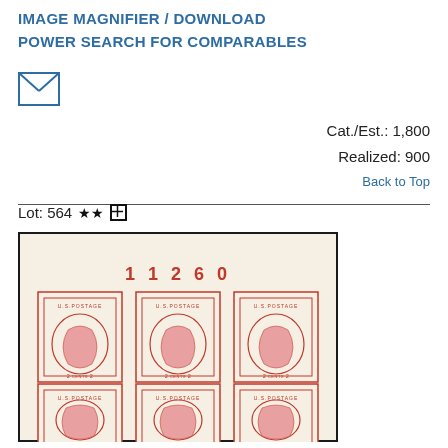IMAGE MAGNIFIER / DOWNLOAD
POWER SEARCH FOR COMPARABLES
[Figure (illustration): Email envelope icon]
Cat./Est.: 1,800
Realized: 900
Back to Top
Lot: 564 ★★⊞
[Figure (photo): Block of six U.S. Postage 2 cent Washington stamps (imperforate), plate number 11260, carmine red color, arranged in two rows of three stamps each, shown partially.]